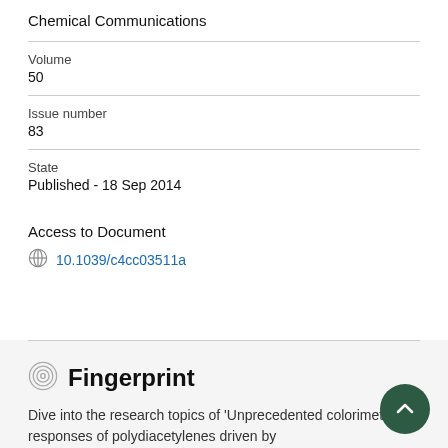Chemical Communications
Volume
50
Issue number
83
State
Published - 18 Sep 2014
Access to Document
10.1039/c4cc03511a
Fingerprint
Dive into the research topics of 'Unprecedented colorimetric responses of polydiacetylenes driven by